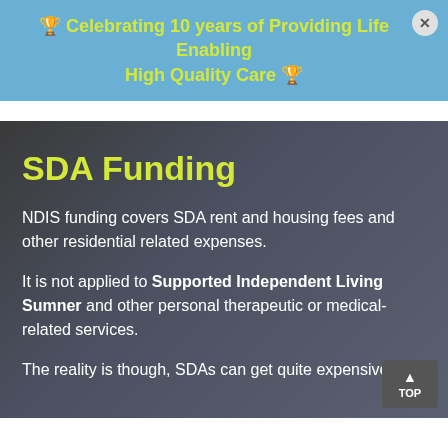🏆 Celebrating 10 years of Providing Life Enabling High Quality Care 🏆
SDA Funding
NDIS funding covers SDA rent and housing fees and other residential related expenses.
It is not applied to Supported Independent Living Sumner and other personal therapeutic or medical-related services.
The reality is though, SDAs can get quite expensive.